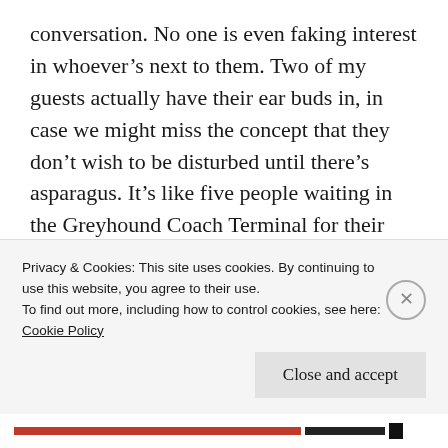conversation. No one is even faking interest in whoever's next to them. Two of my guests actually have their ear buds in, in case we might miss the concept that they don't wish to be disturbed until there's asparagus. It's like five people waiting in the Greyhound Coach Terminal for their connection to Sudbury.
[Figure (illustration): Row of circular avatar photos of people, partially visible at the bottom of the content area, on a grey background strip.]
Privacy & Cookies: This site uses cookies. By continuing to use this website, you agree to their use.
To find out more, including how to control cookies, see here:
Cookie Policy
Close and accept